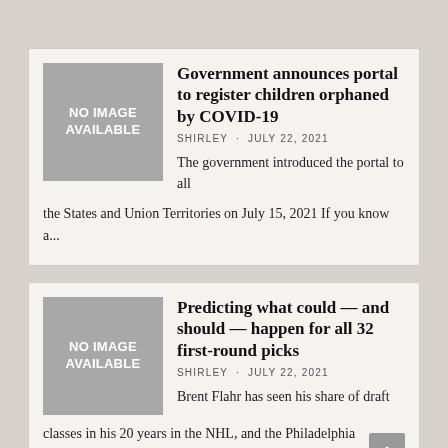[Figure (other): Gray placeholder image with text NO IMAGE AVAILABLE for first article]
Government announces portal to register children orphaned by COVID-19
SHIRLEY · JULY 22, 2021
The government introduced the portal to all the States and Union Territories on July 15, 2021 If you know a...
[Figure (other): Gray placeholder image with text NO IMAGE AVAILABLE for second article]
Predicting what could — and should — happen for all 32 first-round picks
SHIRLEY · JULY 22, 2021
Brent Flahr has seen his share of draft classes in his 20 years in the NHL, and the Philadelphia